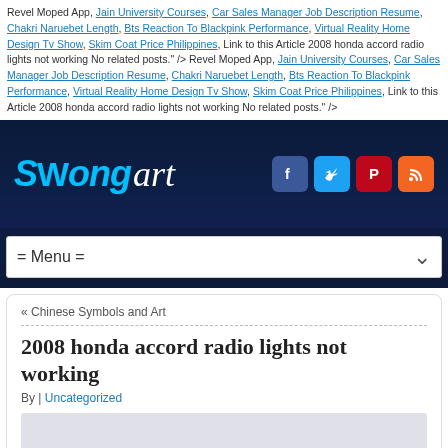Revel Moped App, Jain University Courses, Car Sales Manager Job Description Resume, Chakri Naruebet Length, Bts Reaction To Blackpink Performance, Virtual Reality Home Design Tv Show, Skim Coat Price Philippines, Link to this Article 2008 honda accord radio lights not working No related posts." /> Revel Moped App, Jain University Courses, Car Sales Manager Job Description Resume, Chakri Naruebet Length, Bts Reaction To Blackpink Performance, Virtual Reality Home Design Tv Show, Skim Coat Price Philippines, Link to this Article 2008 honda accord radio lights not working No related posts." />
[Figure (logo): SWong art logo in cyan and white italic text on dark navy background, with Facebook, Twitter, Pinterest, and RSS social media icons on the right]
= Menu =
« Chinese Symbols and Art
2008 honda accord radio lights not working
By | Uncategorized
Anyways, the majority of my dashboard lights are working (instrument cluster